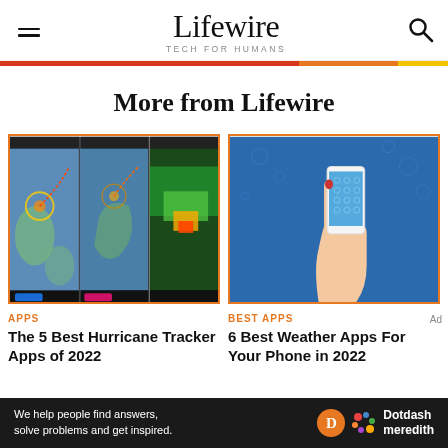Lifewire TECH FOR HUMANS
More from Lifewire
[Figure (screenshot): Three hurricane tracker app screenshots showing maps with storm paths and radar overlays]
APPS
The 5 Best Hurricane Tracker Apps of 2022
[Figure (illustration): Illustrated hand holding a white smartphone against blue background]
BEST APPS
6 Best Weather Apps For Your Phone in 2022
We help people find answers, solve problems and get inspired. Dotdash meredith